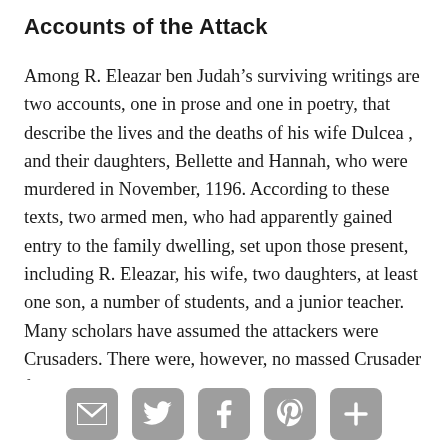Accounts of the Attack
Among R. Eleazar ben Judah’s surviving writings are two accounts, one in prose and one in poetry, that describe the lives and the deaths of his wife Dulcea , and their daughters, Bellette and Hannah, who were murdered in November, 1196. According to these texts, two armed men, who had apparently gained entry to the family dwelling, set upon those present, including R. Eleazar, his wife, two daughters, at least one son, a number of students, and a junior teacher. Many scholars have assumed the attackers were Crusaders. There were, however, no massed Crusader forces in Germany at this time. While the
[Figure (infographic): Social sharing icons: email (envelope), Twitter (bird), Facebook (f), Pinterest (P), and a plus/add icon, all in grey rounded square buttons]